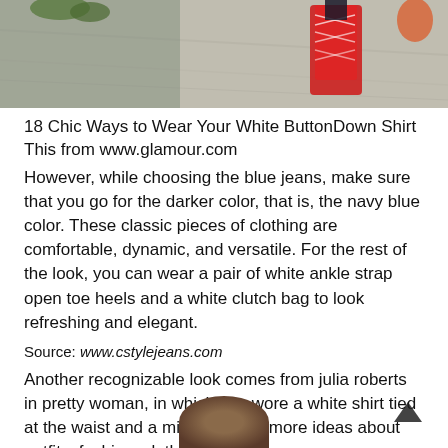[Figure (photo): Top portion of a photo showing feet/legs with red lace-up heels on pavement, cropped at the top of the page]
18 Chic Ways to Wear Your White ButtonDown Shirt This from www.glamour.com
However, while choosing the blue jeans, make sure that you go for the darker color, that is, the navy blue color. These classic pieces of clothing are comfortable, dynamic, and versatile. For the rest of the look, you can wear a pair of white ankle strap open toe heels and a white clutch bag to look refreshing and elegant.
Source: www.cstylejeans.com
Another recognizable look comes from julia roberts in pretty woman, in which she wore a white shirt tied at the waist and a miniskirt. See more ideas about outfits, fashion, clothes.
[Figure (photo): Bottom portion of a photo showing the top of a person's head with dark/auburn hair, cropped at the bottom of the page]